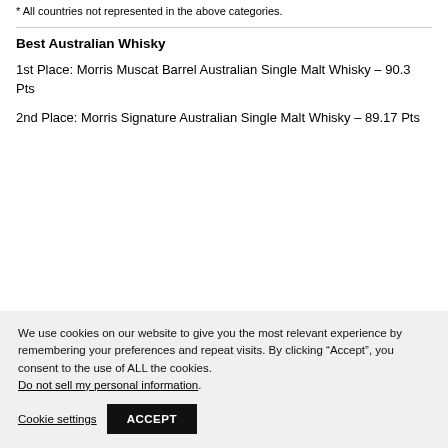* All countries not represented in the above categories.
Best Australian Whisky
1st Place: Morris Muscat Barrel Australian Single Malt Whisky – 90.3 Pts
2nd Place: Morris Signature Australian Single Malt Whisky – 89.17 Pts
We use cookies on our website to give you the most relevant experience by remembering your preferences and repeat visits. By clicking “Accept”, you consent to the use of ALL the cookies. Do not sell my personal information.